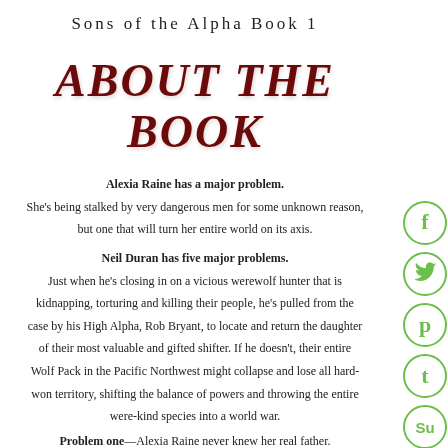Sons of the Alpha Book 1
ABOUT THE BOOK
Alexia Raine has a major problem.
She's being stalked by very dangerous men for some unknown reason, but one that will turn her entire world on its axis.
Neil Duran has five major problems.
Just when he's closing in on a vicious werewolf hunter that is kidnapping, torturing and killing their people, he's pulled from the case by his High Alpha, Rob Bryant, to locate and return the daughter of their most valuable and gifted shifter. If he doesn't, their entire Wolf Pack in the Pacific Northwest might collapse and lose all hard-won territory, shifting the balance of powers and throwing the entire were-kind species into a world war.
Problem one—Alexia Raine never knew her real father.
Problem two—She doesn't even know that shifters or were-kind exist.